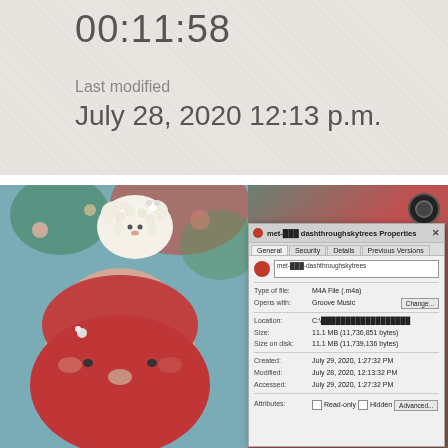[Figure (screenshot): Mobile phone file info screen showing time 00:11:58 and last modified date July 28, 2020 12:13 p.m. on a textured gray background]
[Figure (screenshot): Photo of a person with animated sheep avatar filter wearing round glasses, overlaid with a Windows file Properties dialog for an M4A file named met----dashthroughskytrees. Dialog shows: Type of file M4A File (.m4a), Opens with Groove Music, Size 11.1 MB (11,736,851 bytes), Size on disk 11.1 MB (11,739,136 bytes), Created July 29 2020 1:27:32 PM, Modified July 28 2020 12:13:32 PM, Accessed July 29 2020 1:27:32 PM, Attributes Read-only Hidden Advanced. Camera icon visible top right.]